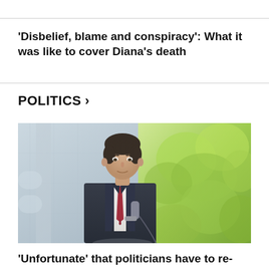'Disbelief, blame and conspiracy': What it was like to cover Diana's death
POLITICS >
[Figure (photo): A man in a dark suit with a red tie standing near a microphone, with green trees in the background and a stone or marble structure behind him.]
'Unfortunate' that politicians have to re-think